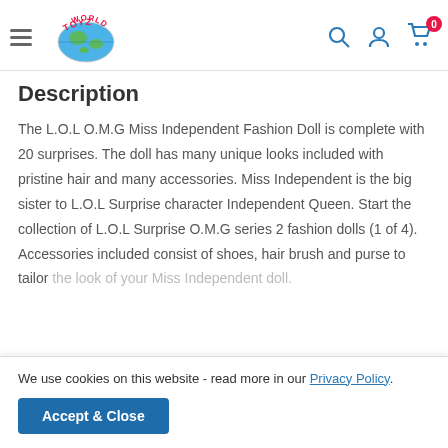Toyz World — navigation bar with hamburger menu, logo, search, account, and cart (0 items)
Description
The L.O.L O.M.G Miss Independent Fashion Doll is complete with 20 surprises. The doll has many unique looks included with pristine hair and many accessories. Miss Independent is the big sister to L.O.L Surprise character Independent Queen. Start the collection of L.O.L Surprise O.M.G series 2 fashion dolls (1 of 4). Accessories included consist of shoes, hair brush and purse to tailor the look of your Miss Independent doll.
We use cookies on this website - read more in our Privacy Policy.
Accept & Close